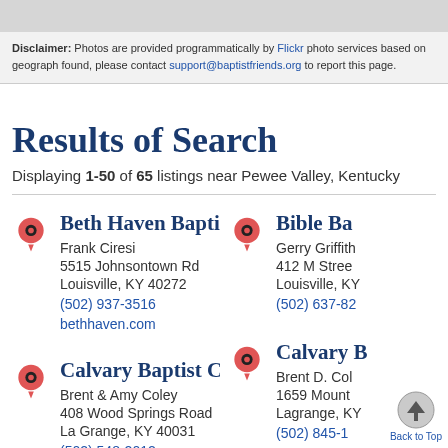Disclaimer: Photos are provided programmatically by Flickr photo services based on geography. If an inappropriate photo is found, please contact support@baptistfriends.org to report this page.
Results of Search
Displaying 1-50 of 65 listings near Pewee Valley, Kentucky
Beth Haven Baptist Church
Frank Ciresi
5515 Johnsontown Rd
Louisville, KY 40272
(502) 937-3516
bethhaven.com
Bible Ba...
Gerry Griffith...
412 M Street...
Louisville, KY...
(502) 637-82...
Calvary Baptist Church
Brent & Amy Coley
408 Wood Springs Road
La Grange, KY 40031
(502) 548-2012
Calvary B...
Brent D. Col...
1659 Mount...
Lagrange, KY...
(502) 845-1...